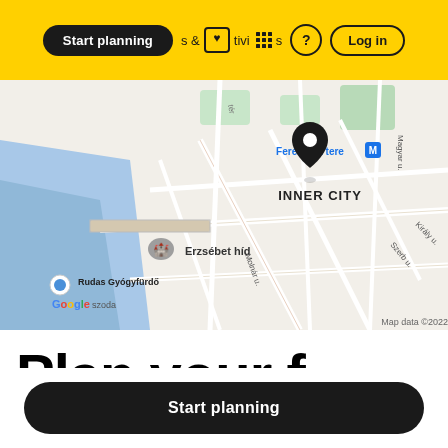Start planning | & Activities | ? | Log in
[Figure (map): Google Maps screenshot showing Inner City area of Budapest, Hungary. Features include Ferenciek tere metro station, Erzsébet híd (Elizabeth Bridge), Rudas Gyógyfürdő, Magyar u., Szerb u., Király u., Molnár u. streets. A location pin is placed at Ferenciek tere. Map data ©2022.]
Plan your f
Start planning